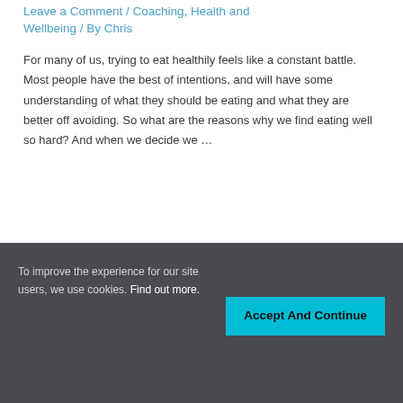Leave a Comment / Coaching, Health and Wellbeing / By Chris
For many of us, trying to eat healthily feels like a constant battle. Most people have the best of intentions, and will have some understanding of what they should be eating and what they are better off avoiding. So what are the reasons why we find eating well so hard? And when we decide we …
To improve the experience for our site users, we use cookies. Find out more.
Accept And Continue